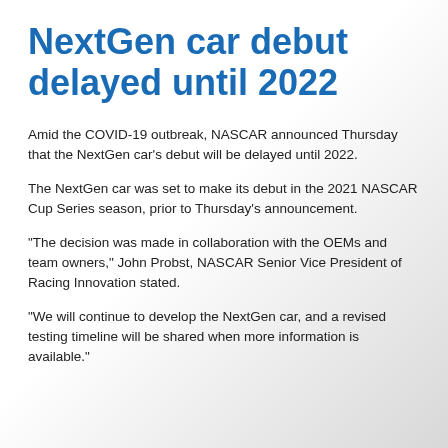NextGen car debut delayed until 2022
Amid the COVID-19 outbreak, NASCAR announced Thursday that the NextGen car's debut will be delayed until 2022.
The NextGen car was set to make its debut in the 2021 NASCAR Cup Series season, prior to Thursday's announcement.
“The decision was made in collaboration with the OEMs and team owners,” John Probst, NASCAR Senior Vice President of Racing Innovation stated.
“We will continue to develop the NextGen car, and a revised testing timeline will be shared when more information is available.”